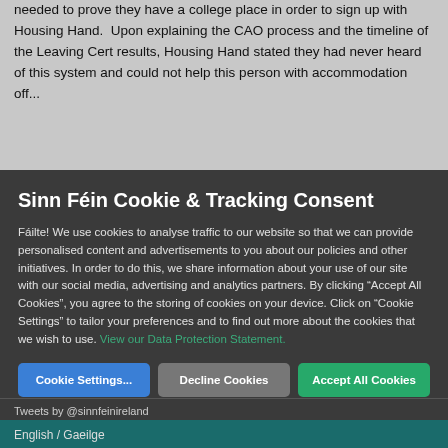needed to prove they have a college place in order to sign up with Housing Hand. Upon explaining the CAO process and the timeline of the Leaving Cert results, Housing Hand stated they had never heard of this system and could not help this person with accommodation off...
Sinn Féin Cookie & Tracking Consent
Fáilte! We use cookies to analyse traffic to our website so that we can provide personalised content and advertisements to you about our policies and other initiatives. In order to do this, we share information about your use of our site with our social media, advertising and analytics partners. By clicking “Accept All Cookies”, you agree to the storing of cookies on your device. Click on “Cookie Settings” to tailor your preferences and to find out more about the cookies that we wish to use. View our Data Protection Statement.
Cookie Settings...
Decline Cookies
Accept All Cookies
Tweets by @sinnfeinireland
English / Gaeilge